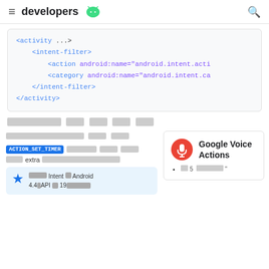developers [Android logo]
<activity ...>
    <intent-filter>
        <action android:name="android.intent.acti
        <category android:name="android.intent.ca
    </intent-filter>
</activity>
[placeholder text]
[placeholder subheader]
ACTION_SET_TIMER [placeholder] [placeholder] extra [placeholder]
[Figure (other): Google Voice Actions card with microphone icon, title 'Google Voice Actions', and bullet point with placeholder text]
[star] [placeholder] Intent [placeholder] Android 4.4[API [placeholder] 19[placeholder]